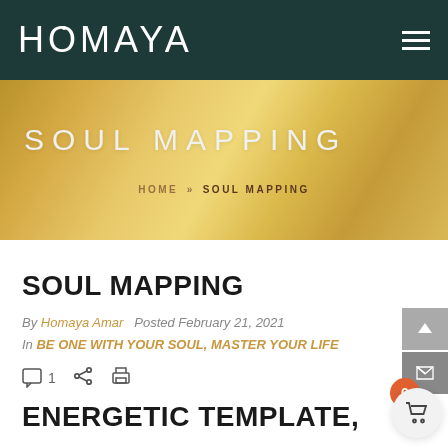HOMAYA
[Figure (screenshot): Gold textured banner with 'SOUL MAPPING' title and breadcrumb navigation HOME » SOUL MAPPING]
SOUL MAPPING
By Homaya Amar  Posted February 21, 2021
In BE ONE WITH YOUR SOUL, MASTER YOUR LIFE
ENERGETIC TEMPLATE,